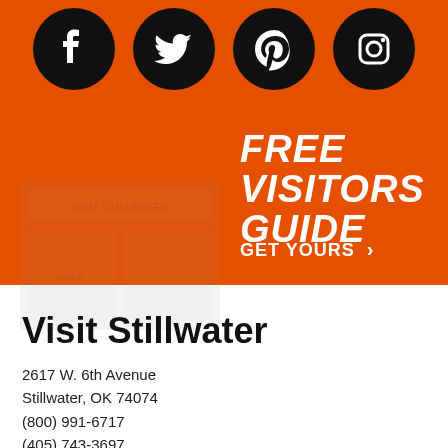[Figure (illustration): Four social media icons (Facebook, Twitter, Pinterest, Instagram) as white symbols on black circles, arranged horizontally on an orange background]
FREE VISITORS GUIDE
GET YOURS >
[Figure (illustration): Faded watermark-style image of a visitor guide booklet cover on orange and white background sections]
Visit Stillwater
2617 W. 6th Avenue
Stillwater, OK 74074
(800) 991-6717
(405) 743-3697